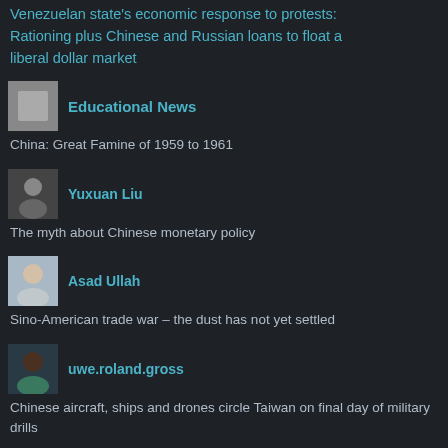Venezuelan state's economic response to protests: Rationing plus Chinese and Russian loans to float a liberal dollar market
[Figure (photo): Avatar placeholder - gray square]
Educational News
China: Great Famine of 1959 to 1961
[Figure (photo): Avatar of Yuxuan Liu]
Yuxuan Liu
The myth about Chinese monetary policy
[Figure (photo): Avatar of Asad Ullah]
Asad Ullah
Sino-American trade war – the dust has not yet settled
[Figure (photo): Avatar of uwe.roland.gross]
uwe.roland.gross
Chinese aircraft, ships and drones circle Taiwan on final day of military drills
[Figure (photo): Avatar of valeriosoldani]
valeriosoldani
Is China still the global manufacturing hub?
[Figure (photo): Avatar at bottom - partial]